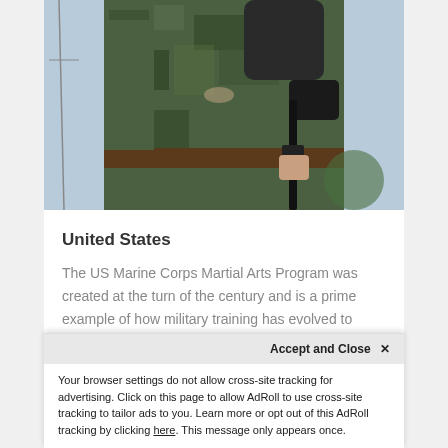[Figure (photo): A soldier in camouflage uniform holding a rifle, wearing elbow pads and tactical gloves, photographed from torso level against a light sky background.]
United States
The US Marine Corps Martial Arts Program was created at the turn of the century and is a prime example of how military training has evolved to include modern martial arts techniques, not only for combat but for discipline and leadership. This was…
Accept and Close ✕
Your browser settings do not allow cross-site tracking for advertising. Click on this page to allow AdRoll to use cross-site tracking to tailor ads to you. Learn more or opt out of this AdRoll tracking by clicking here. This message only appears once.